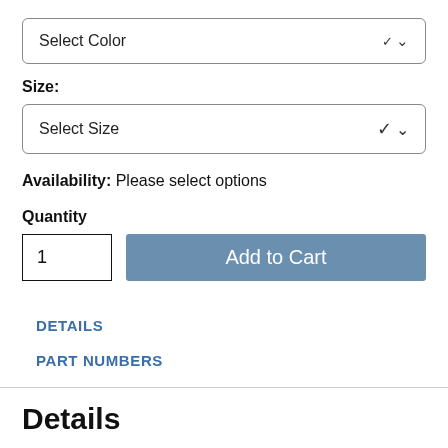Select Color
Size:
Select Size
Availability: Please select options
Quantity
1
Add to Cart
DETAILS
PART NUMBERS
Details